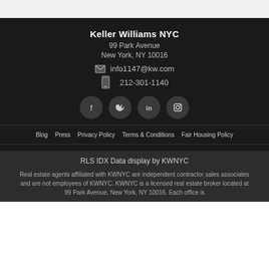Keller Williams NYC
99 Park Avenue
New York, NY 10016
info1147@kw.com
212-301-1140
[Figure (other): Social media icons: Facebook, Twitter, LinkedIn, Instagram]
Blog  |  Press  |  Privacy Policy  |  Terms & Conditions  |  Fair Housing Policy
RLS IDX Data display by KWNYC
Real estate agents affiliated with KWNYC are independent contractor sales associates and are not employees of KWNYC. KWNYC is a licensed real estate broker located at 99 Park Avenue, New York, NY 10016. Each office is